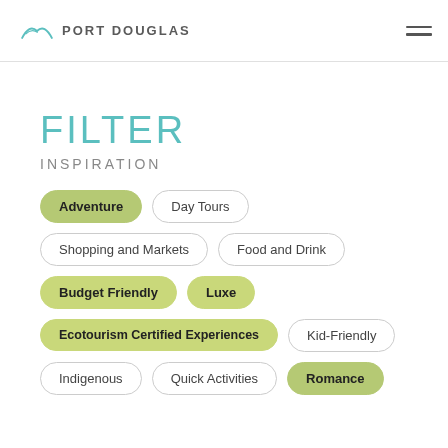PORT DOUGLAS
FILTER
INSPIRATION
Adventure
Day Tours
Shopping and Markets
Food and Drink
Budget Friendly
Luxe
Ecotourism Certified Experiences
Kid-Friendly
Indigenous
Quick Activities
Romance
FILTER BUSINESSES